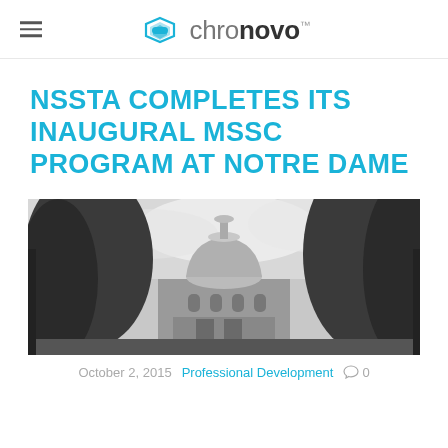chronovo™
NSSTA COMPLETES ITS INAUGURAL MSSC PROGRAM AT NOTRE DAME
[Figure (photo): Black and white photograph of the Notre Dame golden dome building, visible through trees with cloudy sky background]
October 2, 2015  Professional Development  0